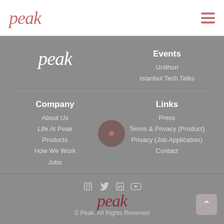peak
[Figure (logo): Peak logo in white italic text in footer]
Events
Unithon
Istanbul Tech Talks
Company
About Us
Life At Peak
Products
How We Work
Jobs
Links
Press
Terms & Privacy (Product)
Privacy (Job Application)
Contact
[Figure (logo): Social media icons: Instagram, Twitter, LinkedIn, YouTube]
[Figure (logo): Peak logo in dark red italic text at bottom]
© Peak. All Rights Reserved